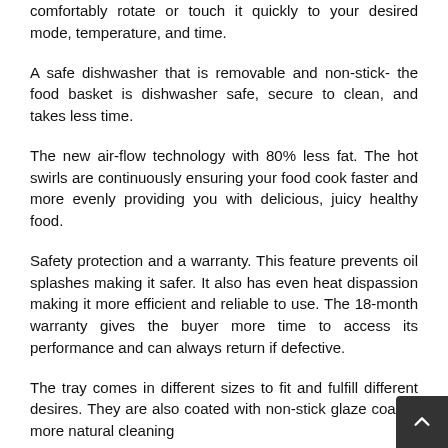comfortably rotate or touch it quickly to your desired mode, temperature, and time.
A safe dishwasher that is removable and non-stick- the food basket is dishwasher safe, secure to clean, and takes less time.
The new air-flow technology with 80% less fat. The hot swirls are continuously ensuring your food cook faster and more evenly providing you with delicious, juicy healthy food.
Safety protection and a warranty. This feature prevents oil splashes making it safer. It also has even heat dispassion making it more efficient and reliable to use. The 18-month warranty gives the buyer more time to access its performance and can always return if defective.
The tray comes in different sizes to fit and fulfill different desires. They are also coated with non-stick glaze coa for more natural cleaning